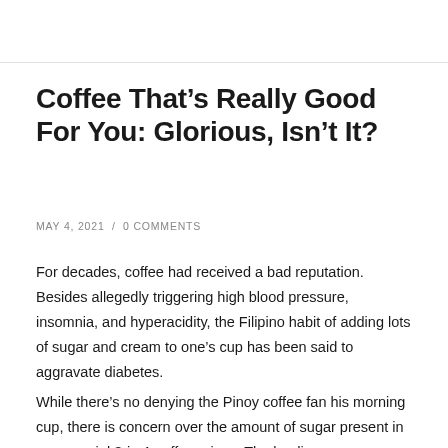Coffee That’s Really Good For You: Glorious, Isn’t It?
MAY 4, 2021 / 0 COMMENTS
For decades, coffee had received a bad reputation. Besides allegedly triggering high blood pressure, insomnia, and hyperacidity, the Filipino habit of adding lots of sugar and cream to one’s cup has been said to aggravate diabetes.
While there’s no denying the Pinoy coffee fan his morning cup, there is concern over the amount of sugar present in commercial 3-in-1 coffee mixes. The leading